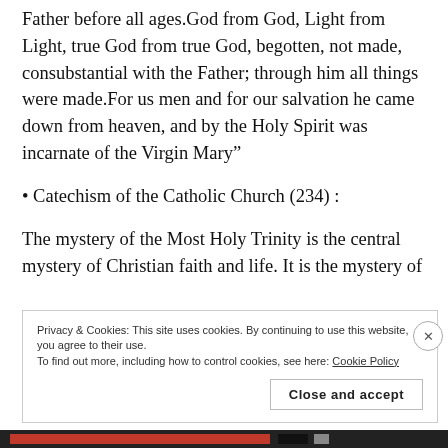Father before all ages.God from God, Light from Light, true God from true God, begotten, not made, consubstantial with the Father; through him all things were made.For us men and for our salvation he came down from heaven, and by the Holy Spirit was incarnate of the Virgin Mary”
• Catechism of the Catholic Church (234) :
The mystery of the Most Holy Trinity is the central mystery of Christian faith and life. It is the mystery of
Privacy & Cookies: This site uses cookies. By continuing to use this website, you agree to their use.
To find out more, including how to control cookies, see here: Cookie Policy